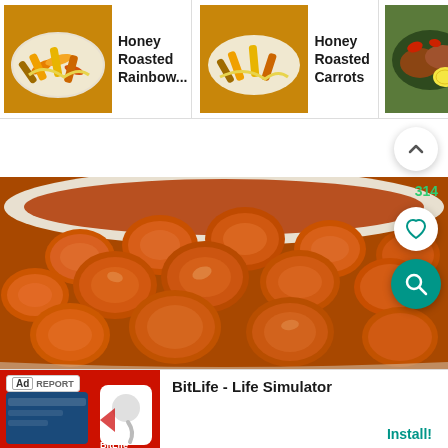[Figure (screenshot): Navigation strip with three recipe thumbnails: Honey Roasted Rainbow..., Honey Roasted Carrots, Rubbed Corn... Chicken]
Honey Roasted Rainbow...
Honey Roasted Carrots
Rubbed Corn... Chicken
[Figure (photo): Close-up photo of honey roasted carrots (sliced round carrots, orange and glazed) in a white baking dish]
[Figure (screenshot): Ad banner for BitLife - Life Simulator app with Install button]